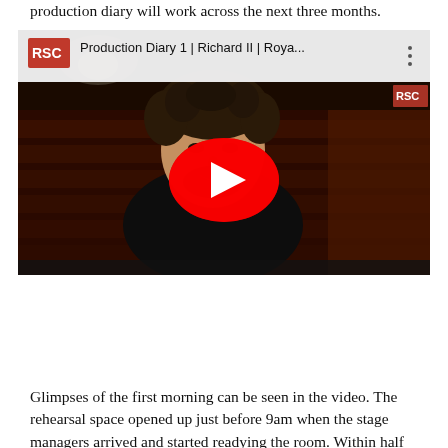production diary will work across the next three months.
[Figure (screenshot): YouTube video thumbnail showing a man with brown curly hair and beard sitting in a theatre with red seats in the background. The video title reads 'Production Diary 1 | Richard II | Roya...' with an RSC logo. A red YouTube play button is centered on the image.]
Glimpses of the first morning can be seen in the video. The rehearsal space opened up just before 9am when the stage managers arrived and started readying the room. Within half